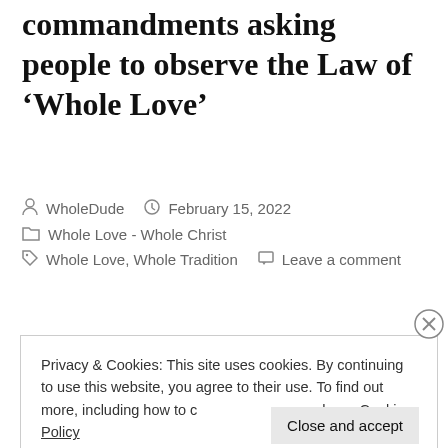commandments asking people to observe the Law of ‘Whole Love’
WholeDude   February 15, 2022
Whole Love - Whole Christ
Whole Love, Whole Tradition   Leave a comment
Privacy & Cookies: This site uses cookies. By continuing to use this website, you agree to their use. To find out more, including how to control cookies, see here: Cookie Policy